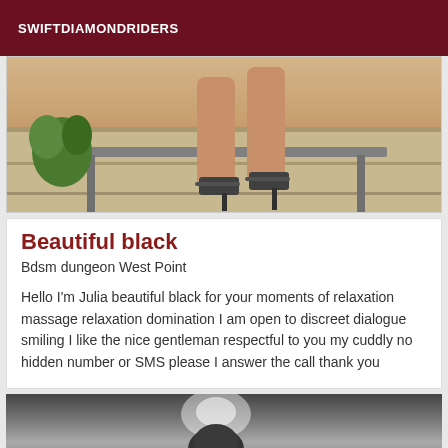SWIFTDIAMONDRIDERS
[Figure (photo): Photo showing a woman's legs and high heel sandals, seated on a bench with tiles and a plant visible]
Beautiful black
Bdsm dungeon West Point
Hello I'm Julia beautiful black for your moments of relaxation massage relaxation domination I am open to discreet dialogue smiling I like the nice gentleman respectful to you my cuddly no hidden number or SMS please I answer the call thank you
[Figure (photo): Black and white photo, partially visible, showing a person with smoke or light effect]